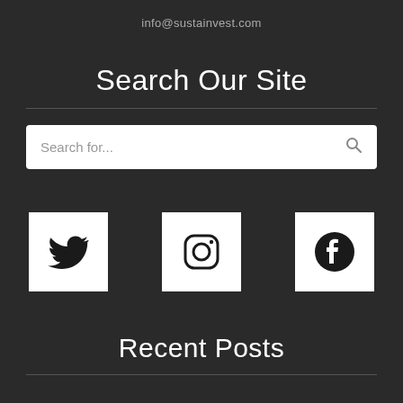info@sustainvest.com
Search Our Site
[Figure (screenshot): Search input box with placeholder text 'Search for...' and a search icon on the right]
[Figure (other): Three social media icons in white boxes: Twitter bird logo, Instagram camera logo, Facebook 'f' logo]
Recent Posts